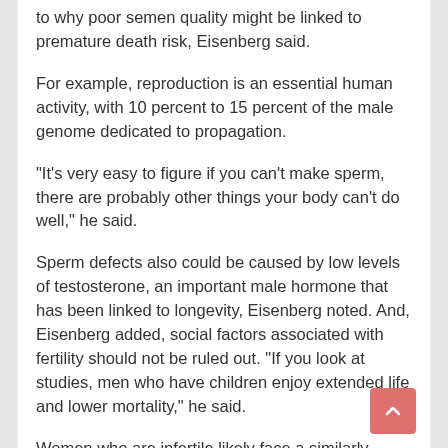to why poor semen quality might be linked to premature death risk, Eisenberg said.
For example, reproduction is an essential human activity, with 10 percent to 15 percent of the male genome dedicated to propagation.
"It's very easy to figure if you can't make sperm, there are probably other things your body can't do well," he said.
Sperm defects also could be caused by low levels of testosterone, an important male hormone that has been linked to longevity, Eisenberg noted. And, Eisenberg added, social factors associated with fertility should not be ruled out. "If you look at studies, men who have children enjoy extended life and lower mortality," he said.
Women who are infertile likely face a similarly increased risk of death, he suggested, although this study only